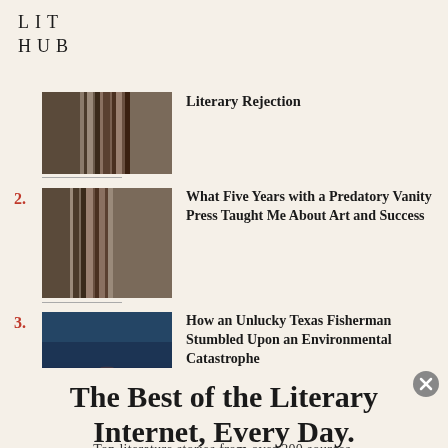LIT HUB
Literary Rejection
2. What Five Years with a Predatory Vanity Press Taught Me About Art and Success
3. How an Unlucky Texas Fisherman Stumbled Upon an Environmental Catastrophe
The Best of the Literary Internet, Every Day.
Top literature stories from over 200 sources.